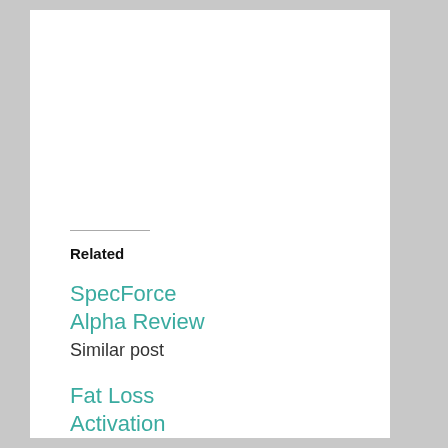Related
SpecForce Alpha Review
Similar post
Fat Loss Activation Review
In "Fitness and Weight Loss"
Trouble Spot Training Review